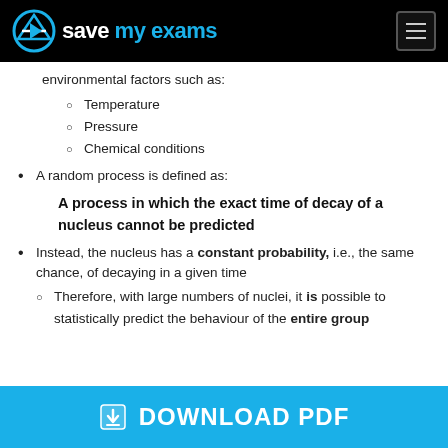Save My Exams
environmental factors such as:
Temperature
Pressure
Chemical conditions
A random process is defined as:
A process in which the exact time of decay of a nucleus cannot be predicted
Instead, the nucleus has a constant probability, i.e., the same chance, of decaying in a given time
Therefore, with large numbers of nuclei, it is possible to statistically predict the behaviour of the entire group
DOWNLOAD PDF